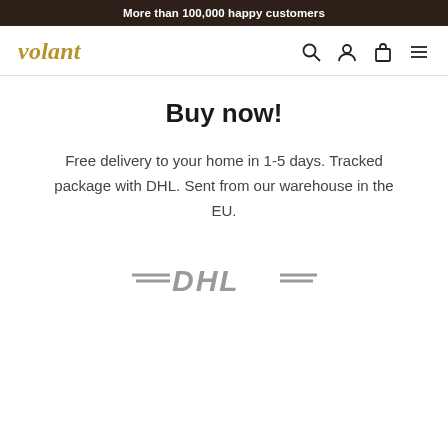More than 100,000 happy customers
[Figure (logo): Volant brand logo in gold italic serif font]
Buy now!
Free delivery to your home in 1-5 days. Tracked package with DHL. Sent from our warehouse in the EU.
[Figure (logo): DHL logo in grey italic bold font with horizontal speed lines]